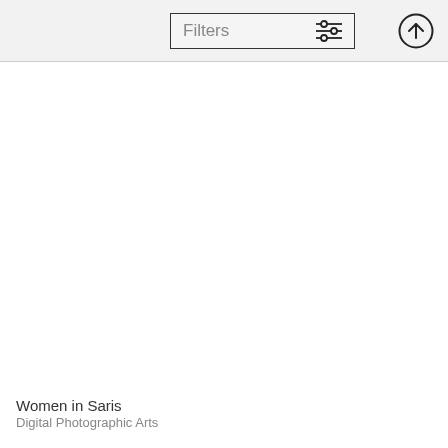Results: 481
[Figure (screenshot): Filters button with sliders icon and an up-arrow circle button in a toolbar]
Women in Saris
Digital Photographic Arts